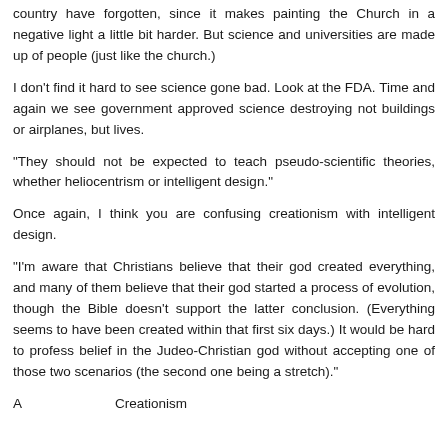country have forgotten, since it makes painting the Church in a negative light a little bit harder. But science and universities are made up of people (just like the church.)
I don't find it hard to see science gone bad. Look at the FDA. Time and again we see government approved science destroying not buildings or airplanes, but lives.
"They should not be expected to teach pseudo-scientific theories, whether heliocentrism or intelligent design."
Once again, I think you are confusing creationism with intelligent design.
"I'm aware that Christians believe that their god created everything, and many of them believe that their god started a process of evolution, though the Bible doesn't support the latter conclusion. (Everything seems to have been created within that first six days.) It would be hard to profess belief in the Judeo-Christian god without accepting one of those two scenarios (the second one being a stretch)."
And then something about... Creationism something something...